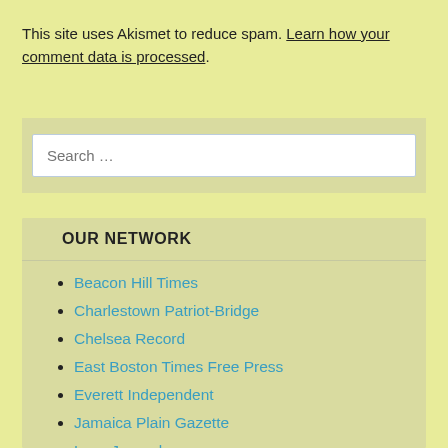This site uses Akismet to reduce spam. Learn how your comment data is processed.
[Figure (screenshot): Search input box with placeholder text 'Search ...']
OUR NETWORK
Beacon Hill Times
Charlestown Patriot-Bridge
Chelsea Record
East Boston Times Free Press
Everett Independent
Jamaica Plain Gazette
Lynn Journal
Mission Hill Gazette
North End Regional Review